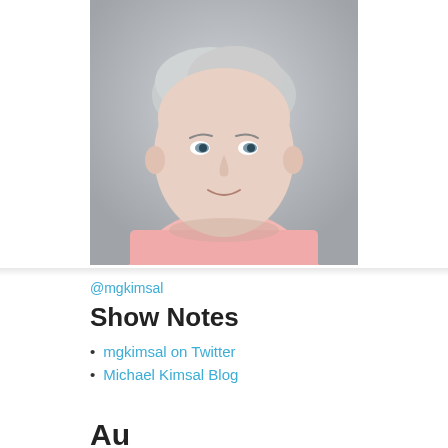[Figure (photo): Headshot of a middle-aged man with short gray hair wearing a pink button-down shirt, photographed against a gray background]
@mgkimsal
Show Notes
mgkimsal on Twitter
Michael Kimsal Blog
Au...